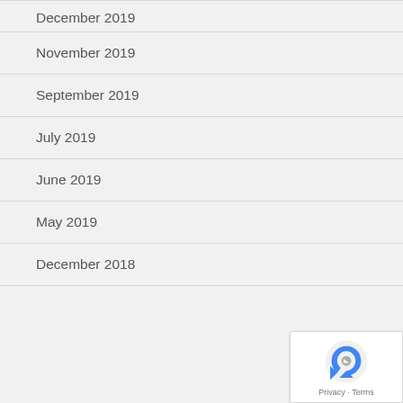December 2019
November 2019
September 2019
July 2019
June 2019
May 2019
December 2018